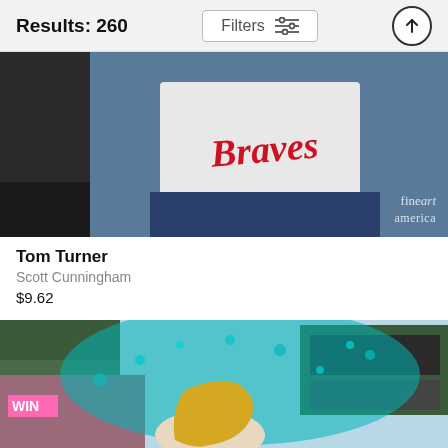Results: 260    Filters
[Figure (photo): A person wearing a white Atlanta Braves baseball jersey sitting in what appears to be a truck bed at a stadium. The 'fine art america' watermark is visible in the lower right corner.]
Tom Turner
Scott Cunningham
$9.62
[Figure (photo): A woman with long blonde hair being splashed with teal/blue powder or confetti at what appears to be a baseball stadium. A 'WIN' sign and stadium structure visible in the background.]